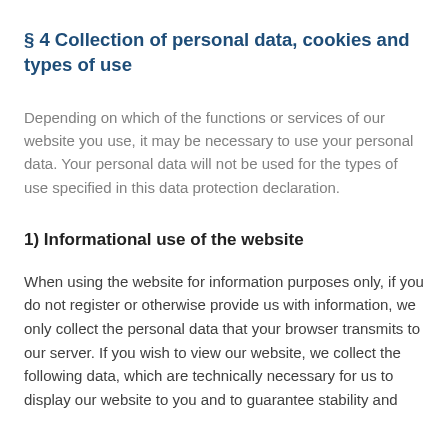§ 4 Collection of personal data, cookies and types of use
Depending on which of the functions or services of our website you use, it may be necessary to use your personal data. Your personal data will not be used for the types of use specified in this data protection declaration.
1) Informational use of the website
When using the website for information purposes only, if you do not register or otherwise provide us with information, we only collect the personal data that your browser transmits to our server. If you wish to view our website, we collect the following data, which are technically necessary for us to display our website to you and to guarantee stability and